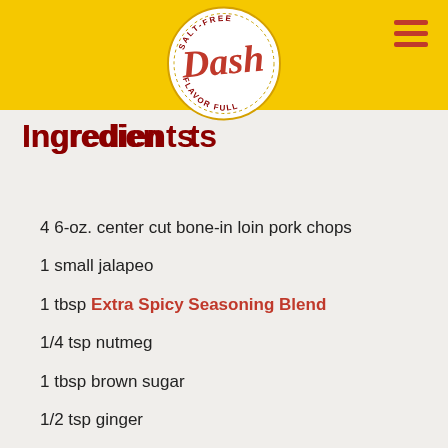[Figure (logo): Dash Salt-Free brand logo: circular badge with 'SALT-FREE' and 'FLAVOR FULL' text around the edge, 'Dash' in red script lettering in the center, yellow and white colors]
Ingredients
4 6-oz. center cut bone-in loin pork chops
1 small jalapeo
1 tbsp Extra Spicy Seasoning Blend
1/4 tsp nutmeg
1 tbsp brown sugar
1/2 tsp ginger
1/2 tsp ground allspice
2 tbsp Original Blend
Fresh thyme sprigs for garnish